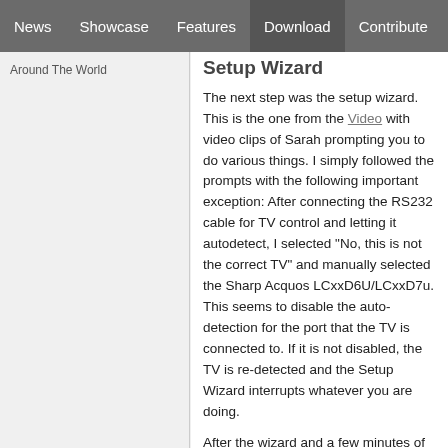News | Showcase | Features | Download | Contribute | Support
Around The World
Setup Wizard
The next step was the setup wizard. This is the one from the Video with video clips of Sarah prompting you to do various things. I simply followed the prompts with the following important exception: After connecting the RS232 cable for TV control and letting it autodetect, I selected "No, this is not the correct TV" and manually selected the Sharp Acquos LCxxD6U/LCxxD7u. This seems to disable the auto-detection for the port that the TV is connected to. If it is not disabled, the TV is re-detected and the Setup Wizard interrupts whatever you are doing.
After the wizard and a few minutes of letting the system set itself up, the progress bar reached 100% and the LinuxMCE showed the on-screen orbiter with pictures as the